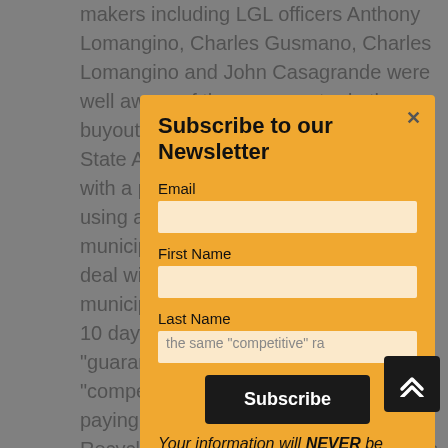makers including LGL officers Anthony Lomangino, Charles Gusmano, Charles Lomangino and John Casagrande were well aware of the pressure to do the buyout would trigger, they asked the State Attorney Pam Bondi to come up with a plan to avoid anti-trust litigation using an essentially secret letter sent to municipalities offering them a special deal with Waste Management. If the municipalities agreed to this offer within 10 days, Waste Management would "guarantee" for 5 years the same "competitive" rate they were currently paying Bergeron for Waste and Recycling services. Bondi then used this letter as an excuse to bypass the municipalities claiming that the offer was available to municipalities to find other Waste and Recycling services during the 5 years they would still be provided the "competitive" rate they were
[Figure (screenshot): Newsletter subscription modal overlay with fields for Email, First Name, Last Name, a Subscribe button, and privacy disclaimer text 'Your information will NEVER be shared or sold to a third party.']